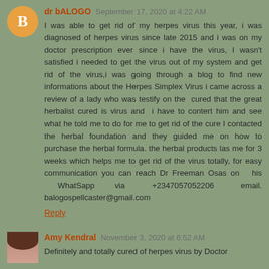dr bALOGO September 17, 2020 at 4:22 AM
I was able to get rid of my herpes virus this year, i was diagnosed of herpes virus since late 2015 and i was on my doctor prescription ever since i have the virus, I wasn't satisfied i needed to get the virus out of my system and get rid of the virus,i was going through a blog to find new informations about the Herpes Simplex Virus i came across a review of a lady who was testify on the  cured that the great herbalist cured is virus and  i have to contert him and see what he told me to do for me to get rid of the cure I contacted the herbal foundation and they guided me on how to purchase the herbal formula. the herbal products las me for 3 weeks which helps me to get rid of the virus totally, for easy communication you can reach Dr Freeman Osas on  his  WhatSapp  via   +2347057052206   email. balogospellcaster@gmail.com
Reply
Amy Kendral November 3, 2020 at 6:52 AM
Definitely and totally cured of herpes virus by Doctor